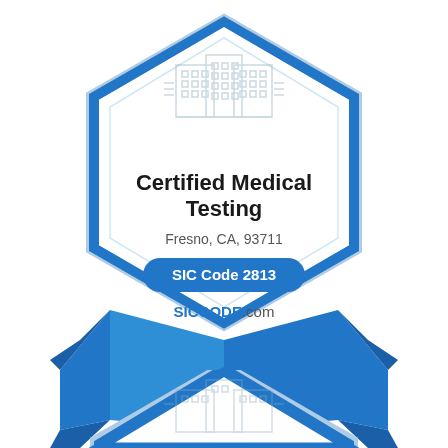[Figure (illustration): A certification badge/seal consisting of: a hexagonal outline badge with blue border, white interior, a building/city icon at the top, company name 'Certified Medical Testing', location 'Fresno, CA, 93711', a blue rounded rectangle button with 'SIC Code 2813', and 'SICCODE.com' branding. Below the main badge are blue ribbon flourishes. At the bottom, a partial second identical badge is visible.]